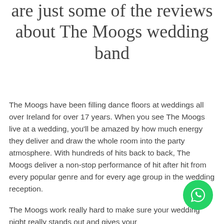are just some of the reviews about The Moogs wedding band
The Moogs have been filling dance floors at weddings all over Ireland for over 17 years. When you see The Moogs live at a wedding, you'll be amazed by how much energy they deliver and draw the whole room into the party atmosphere. With hundreds of hits back to back, The Moogs deliver a non-stop performance of hit after hit from every popular genre and for every age group in the wedding reception.
The Moogs work really hard to make sure your wedding night really stands out and gives your